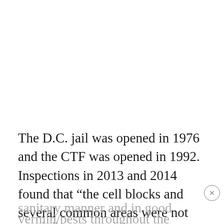The D.C. jail was opened in 1976 and the CTF was opened in 1992. Inspections in 2013 and 2014 found that “the cell blocks and several common areas were not maintained in a clean and sanitary manner and in good repair.”
[Figure (other): Advertisement banner: 'HOW PROGRESSIVES SOLD OUT RURAL TOWNS TO FOREIGN DRUG LORDS' with WATCH NOW button and NARCOFORNIA logo over green cannabis leaf background]
Aside from... vermin/pests throughout the facility," the report